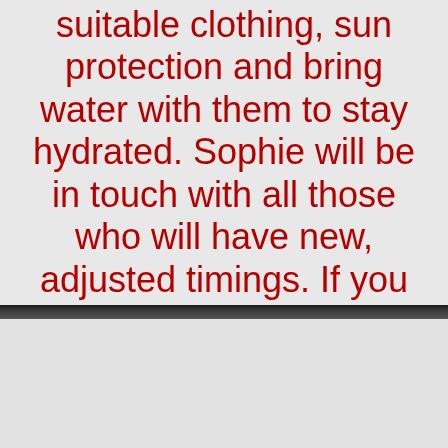suitable clothing, sun protection and bring water with them to stay hydrated. Sophie will be in touch with all those who will have new, adjusted timings. If you have not been contacted, please assume your lesson is staying at its original time. Thank you for your understanding!